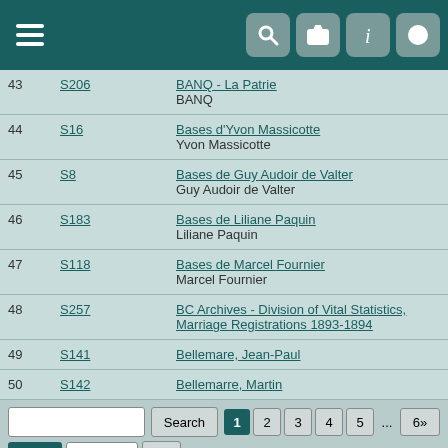Navigation header with hamburger menu and icons
| # | Code | Name / Source |
| --- | --- | --- |
| 43 | S206 | BANQ - La Patrie
BANQ |
| 44 | S16 | Bases d'Yvon Massicotte
Yvon Massicotte |
| 45 | S8 | Bases de Guy Audoir de Valter
Guy Audoir de Valter |
| 46 | S183 | Bases de Liliane Paquin
Liliane Paquin |
| 47 | S118 | Bases de Marcel Fournier
Marcel Fournier |
| 48 | S257 | BC Archives - Division of Vital Statistics, Marriage Registrations 1893-1894 |
| 49 | S141 | Bellemare, Jean-Paul |
| 50 | S142 | Bellemarre, Martin |
Search | 1 2 3 4 5 ... 6» | Next» Page# Go